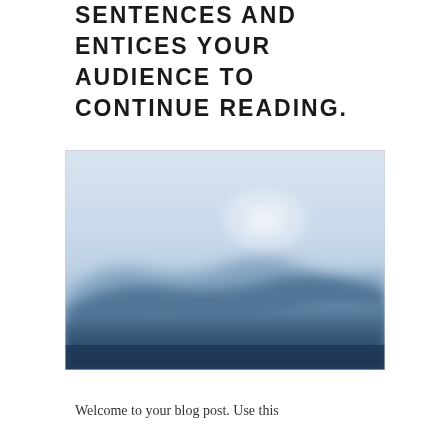SENTENCES AND ENTICES YOUR AUDIENCE TO CONTINUE READING.
[Figure (photo): Blurred landscape photo showing blue mountains or hills beneath a pale, hazy sky with soft light. The image has a dreamy, out-of-focus quality with gradients from light gray-blue at the top to deeper navy blue at the bottom.]
Welcome to your blog post. Use this